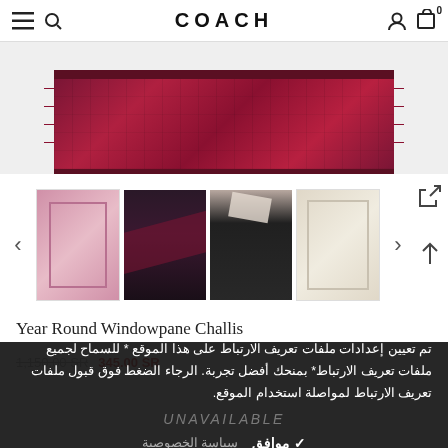COACH — navigation bar with menu, search, account, and cart icons
[Figure (photo): Hero image showing a burgundy/dark red windowpane challis scarf laid flat with fringe edges, on a light grey background]
[Figure (photo): Four product thumbnail images: 1) pink scarf laid flat, 2) person wearing dark burgundy scarf, 3) person in black outfit wearing white/cream scarf, 4) cream/beige scarf laid flat]
Year Round Windowpane Challis
1,150.00 SR   345.00 SR
تم تعيين إعدادات ملفات تعريف الارتباط على هذا الموقع * للسماح لجميع ملفات تعريف الارتباط* بمنحك أفضل تجربة. الرجاء الضغط فوق قبول ملفات تعريف الارتباط لمواصلة استخدام الموقع.
UNAVAILABLE
✓ موافق   سياسة الخصوصية